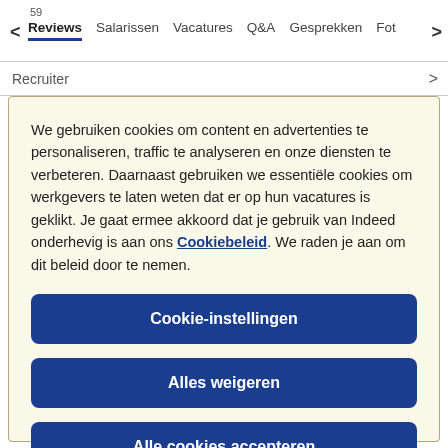59 | Reviews  Salarissen  Vacatures  Q&A  Gesprekken  Fot
Recruiter
We gebruiken cookies om content en advertenties te personaliseren, traffic te analyseren en onze diensten te verbeteren. Daarnaast gebruiken we essentiële cookies om werkgevers te laten weten dat er op hun vacatures is geklikt. Je gaat ermee akkoord dat je gebruik van Indeed onderhevig is aan ons Cookiebeleid. We raden je aan om dit beleid door te nemen.
Cookie-instellingen
Alles weigeren
Alle cookies accepteren